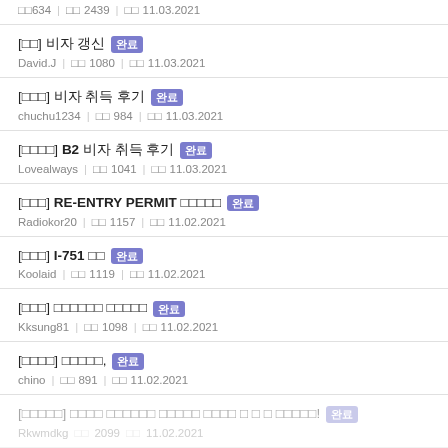□□634 □□ 2439 □□ 11.03.2021
[□□] 비자 갱신 완료 | David.J | □□ 1080 | □□ 11.03.2021
[□□□] 비자 취득 후기 완료 | chuchu1234 | □□ 984 | □□ 11.03.2021
[□□□□] B2 비자 취득 후기 완료 | Lovealways | □□ 1041 | □□ 11.03.2021
[□□□] RE-ENTRY PERMIT □□□□□ 완료 | Radiokor20 | □□ 1157 | □□ 11.02.2021
[□□□] I-751 □□ 완료 | Koolaid | □□ 1119 | □□ 11.02.2021
[□□□] □□□□□□ □□□□□ 완료 | Kksung81 | □□ 1098 | □□ 11.02.2021
[□□□□] □□□□□, 완료 | chino | □□ 891 | □□ 11.02.2021
[□□□□□] □□□□ □□□□□□ □□□□□ □□□□ □ □ □ □□□□□! 완료 | Rkwmdkg | □□ 2099 | □□ 11.02.2021